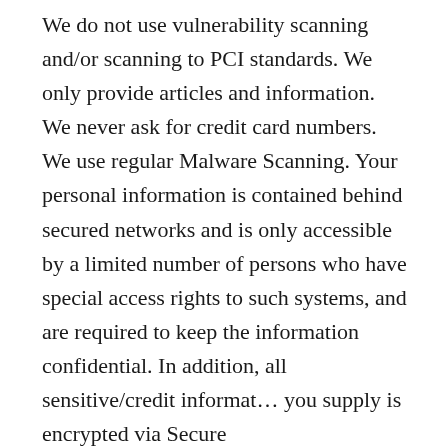We do not use vulnerability scanning and/or scanning to PCI standards. We only provide articles and information. We never ask for credit card numbers. We use regular Malware Scanning. Your personal information is contained behind secured networks and is only accessible by a limited number of persons who have special access rights to such systems, and are required to keep the information confidential. In addition, all sensitive/credit information you supply is encrypted via Secure